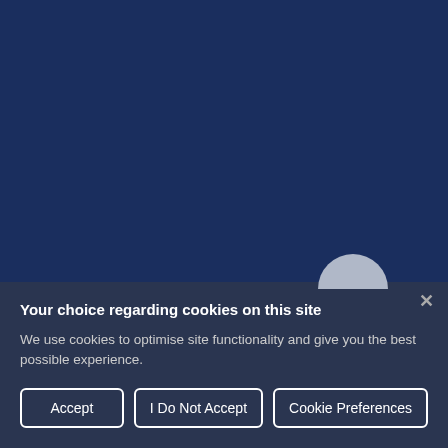[Figure (screenshot): Dark navy blue background filling the upper portion of the page, representing a website background.]
Your choice regarding cookies on this site
We use cookies to optimise site functionality and give you the best possible experience.
Accept | I Do Not Accept | Cookie Preferences